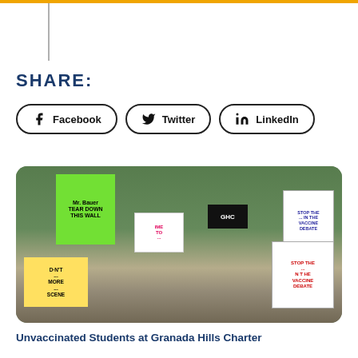SHARE:
[Figure (other): Three social share buttons: Facebook, Twitter, LinkedIn — pill-shaped with icons]
[Figure (photo): Crowd of protesters holding signs including 'Mr Bauer Tear Down This Wall', 'Time To...', 'GHC', 'Stop the... Vaccine Debate', 'Don't...', and other signs. A woman in a red jacket and a man in a suit are visible among protesters.]
Unvaccinated Students at Granada Hills Charter